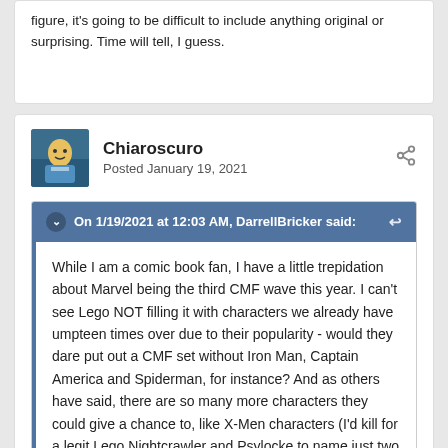figure, it's going to be difficult to include anything original or surprising. Time will tell, I guess.
Chiaroscuro
Posted January 19, 2021
On 1/19/2021 at 12:03 AM, DarrellBricker said:
While I am a comic book fan, I have a little trepidation about Marvel being the third CMF wave this year. I can't see Lego NOT filling it with characters we already have umpteen times over due to their popularity - would they dare put out a CMF set without Iron Man, Captain America and Spiderman, for instance? And as others have said, there are so many more characters they could give a chance to, like X-Men characters (I'd kill for a legit Lego Nightcrawler and Psylocke to name just two but we